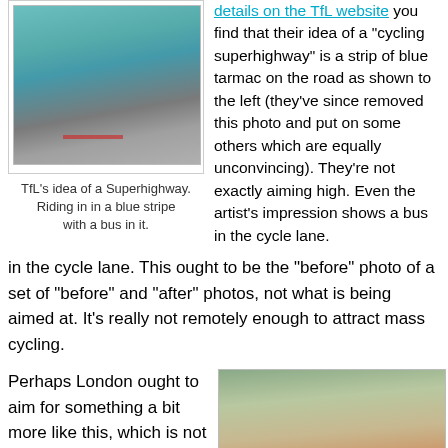[Figure (photo): Blue cycling superhighway lane painted on road surface with bicycle symbol]
TfL's idea of a Superhighway. Riding in in a blue stripe with a bus in it.
details on the TfL website you find that their idea of a "cycling superhighway" is a strip of blue tarmac on the road as shown to the left (they've since removed this photo and put on some others which are equally unconvincing). They're not exactly aiming high. Even the artist's impression shows a bus in the cycle lane. This ought to be the "before" photo of a set of "before" and "after" photos, not what is being aimed at. It's really not remotely enough to attract mass cycling.
Perhaps London ought to aim for something a bit more like this, which is not an artist's impression but something retrofitted to a few km of streets in Assen a couple of years ago. Get people away from the cars and the chances climb but...
[Figure (photo): Wide red cycling path separated from road in Assen, Netherlands, with cyclist visible from behind]
Separation appears to be possible...